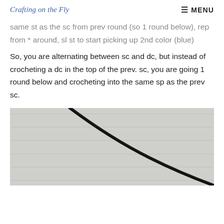Crafting on the Fly   ☰ MENU
same st as the sc from prev round (so 1 round below), rep from * around, sl st to start picking up 2nd color (blue)
So, you are alternating between sc and dc, but instead of crocheting a dc in the top of the prev. sc, you are going 1 round below and crocheting into the same sp as the prev sc.
[Figure (photo): Close-up photo of crochet work on a white wood background, showing a dark yarn thread crossing diagonally across weathered white wooden planks.]